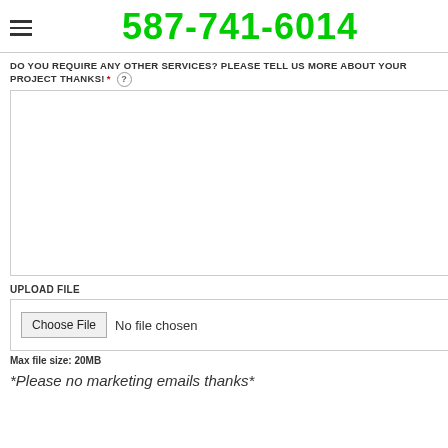587-741-6014
DO YOU REQUIRE ANY OTHER SERVICES? PLEASE TELL US MORE ABOUT YOUR PROJECT THANKS! *
[Figure (other): Large empty textarea input field for user text entry]
UPLOAD FILE
[Figure (other): File input control with Choose File button and No file chosen text]
Max file size: 20MB
*Please no marketing emails thanks*